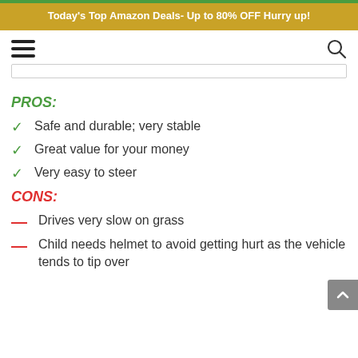Today's Top Amazon Deals- Up to 80% OFF Hurry up!
PROS:
Safe and durable; very stable
Great value for your money
Very easy to steer
CONS:
Drives very slow on grass
Child needs helmet to avoid getting hurt as the vehicle tends to tip over